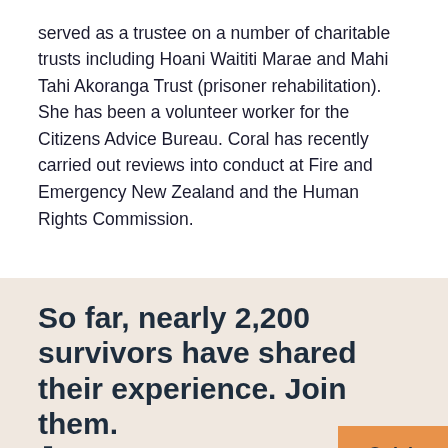served as a trustee on a number of charitable trusts including Hoani Waititi Marae and Mahi Tahi Akoranga Trust (prisoner rehabilitation). She has been a volunteer worker for the Citizens Advice Bureau. Coral has recently carried out reviews into conduct at Fire and Emergency New Zealand and the Human Rights Commission.
So far, nearly 2,200 survivors have shared their experience. Join them. Ā mohoa nei, neke atu i te 2,200 purapura ora kua kōrero mai i ō rātou haerenga. Hono mai.
We cannot make any findings, reach conclusions or make recommendations